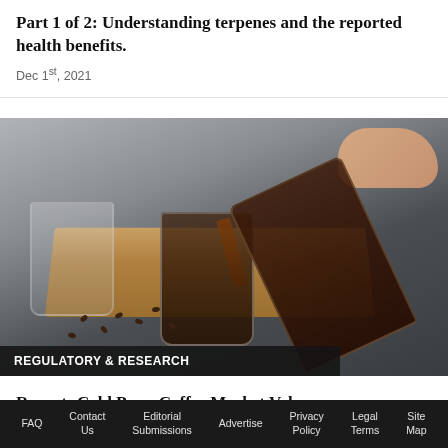Part 1 of 2: Understanding terpenes and the reported health benefits.
Dec 1st, 2021
[Figure (photo): Photo of cold brew coffee being poured from a glass bottle into a double-walled glass with ice, set on a wooden board with coffee beans scattered around on a dark surface. A hand is visible holding the bottle. A second glass is visible in the background on the left.]
REGULATORY & RESEARCH
Report: Cold Brew Coffee Market Value
FAQ   Contact Us   Editorial Submissions   Advertise   Privacy Policy   Legal Terms   Site Map